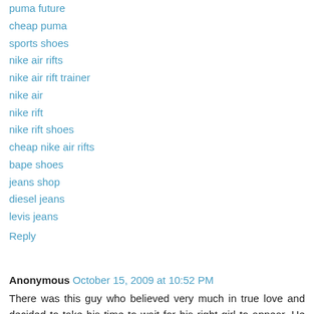puma future
cheap puma
sports shoes
nike air rifts
nike air rift trainer
nike air
nike rift
nike rift shoes
cheap nike air rifts
bape shoes
jeans shop
diesel jeans
levis jeans
Reply
Anonymous  October 15, 2009 at 10:52 PM
There was this guy who believed very much in true love and decided to take his time to wait for his right girl to appear. He believed that there would definitely be someone special out there for him, but none came.
Every year at Christmas, his ex-girlfriend would return from